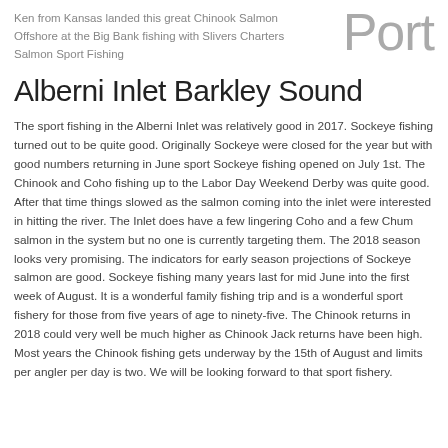Ken from Kansas landed this great Chinook Salmon Offshore at the Big Bank fishing with Slivers Charters Salmon Sport Fishing
Port
Alberni Inlet Barkley Sound
The sport fishing in the Alberni Inlet was relatively good in 2017. Sockeye fishing turned out to be quite good. Originally Sockeye were closed for the year but with good numbers returning in June sport Sockeye fishing opened on July 1st. The Chinook and Coho fishing up to the Labor Day Weekend Derby was quite good. After that time things slowed as the salmon coming into the inlet were interested in hitting the river. The Inlet does have a few lingering Coho and a few Chum salmon in the system but no one is currently targeting them. The 2018 season looks very promising. The indicators for early season projections of Sockeye salmon are good. Sockeye fishing many years last for mid June into the first week of August. It is a wonderful family fishing trip and is a wonderful sport fishery for those from five years of age to ninety-five. The Chinook returns in 2018 could very well be much higher as Chinook Jack returns have been high. Most years the Chinook fishing gets underway by the 15th of August and limits per angler per day is two. We will be looking forward to that sport fishery.